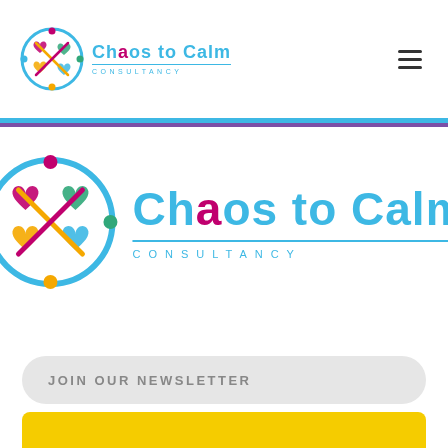[Figure (logo): Chaos to Calm Consultancy logo (small) in navigation header]
[Figure (logo): Hamburger / menu icon in top right of navigation header]
[Figure (logo): Chaos to Calm Consultancy logo (large) centered in page body]
JOIN OUR NEWSLETTER